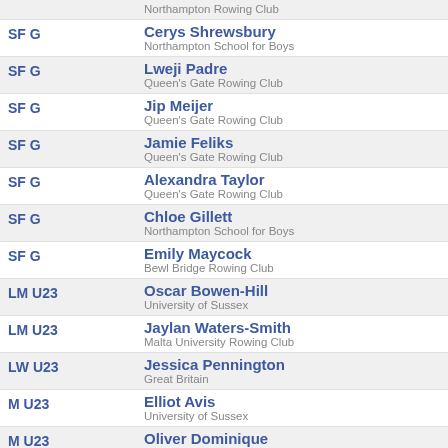| Category | Name / Club |
| --- | --- |
|  | Northampton Rowing Club |
| SF G | Cerys Shrewsbury / Northampton School for Boys |
| SF G | Lweji Padre / Queen's Gate Rowing Club |
| SF G | Jip Meijer / Queen's Gate Rowing Club |
| SF G | Jamie Feliks / Queen's Gate Rowing Club |
| SF G | Alexandra Taylor / Queen's Gate Rowing Club |
| SF G | Chloe Gillett / Northampton School for Boys |
| SF G | Emily Maycock / Bewl Bridge Rowing Club |
| LM U23 | Oscar Bowen-Hill / University of Sussex |
| LM U23 | Jaylan Waters-Smith / Malta University Rowing Club |
| LW U23 | Jessica Pennington / Great Britain |
| M U23 | Elliot Avis / University of Sussex |
| M U23 | Oliver Dominique / Nottingham Rowing Club |
| M U23 | Jago Bayley / University of Sussex |
| M U23 | Ben Warner / Great Britain |